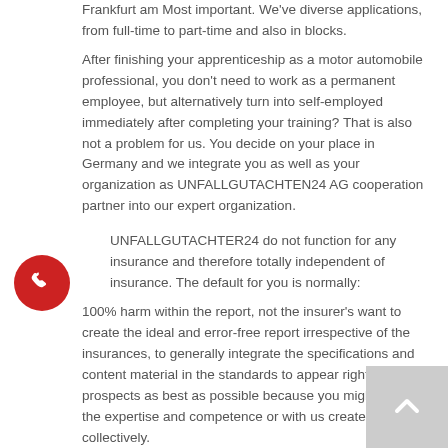Frankfurt am Most important. We've diverse applications, from full-time to part-time and also in blocks.
After finishing your apprenticeship as a motor automobile professional, you don't need to work as a permanent employee, but alternatively turn into self-employed immediately after completing your training? That is also not a problem for us. You decide on your place in Germany and we integrate you as well as your organization as UNFALLGUTACHTEN24 AG cooperation partner into our expert organization.
[Figure (other): Red circular phone/call button icon]
UNFALLGUTACHTER24 do not function for any insurance and therefore totally independent of insurance. The default for you is normally:
100% harm within the report, not the insurer's want to create the ideal and error-free report irrespective of the insurances, to generally integrate the specifications and content material in the standards to appear right after your prospects as best as possible because you might have the expertise and competence or with us create collectively.
THE EDUCATION / POSITION.
The instruction as a motor car specialist in the headquarters PLZ-60435 Frankfurt am Primary, which includes the Germany
[Figure (other): Gray scroll-to-top button with upward arrow chevron]